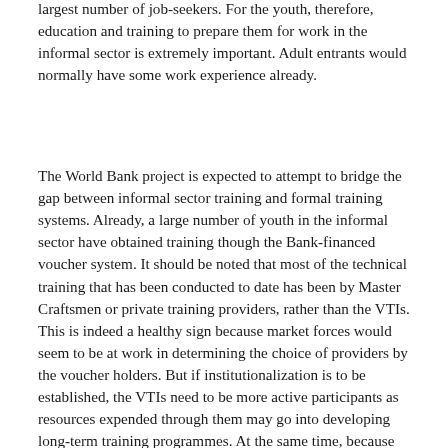largest number of job-seekers. For the youth, therefore, education and training to prepare them for work in the informal sector is extremely important. Adult entrants would normally have some work experience already.
The World Bank project is expected to attempt to bridge the gap between informal sector training and formal training systems. Already, a large number of youth in the informal sector have obtained training though the Bank-financed voucher system. It should be noted that most of the technical training that has been conducted to date has been by Master Craftsmen or private training providers, rather than the VTIs. This is indeed a healthy sign because market forces would seem to be at work in determining the choice of providers by the voucher holders. But if institutionalization is to be established, the VTIs need to be more active participants as resources expended through them may go into developing long-term training programmes. At the same time, because of the cash incentives provided by the World Bank project, the VTIs and the informal sector could be brought together and help to reduce mutual distrust between the groups.